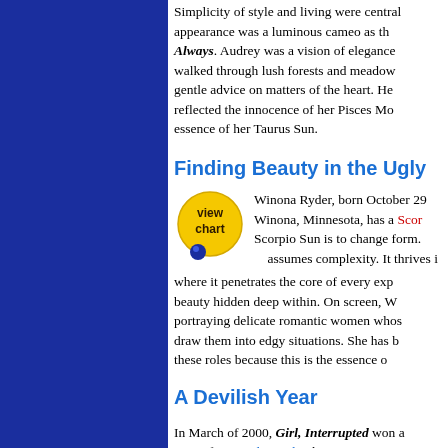Simplicity of style and living were central… appearance was a luminous cameo as th… Always. Audrey was a vision of elegance… walked through lush forests and meadow… gentle advice on matters of the heart. He… reflected the innocence of her Pisces Mo… essence of her Taurus Sun.
Finding Beauty in the Ugly
[Figure (illustration): Yellow circular 'view chart' button with blue marble accent]
Winona Ryder, born October 29… Winona, Minnesota, has a Scorpio Sun is to change form. assumes complexity. It thrives i… where it penetrates the core of every exp… beauty hidden deep within. On screen, W… portraying delicate romantic women whos… draw them into edgy situations. She has b… these roles because this is the essence o…
A Devilish Year
In March of 2000, Girl, Interrupted won a… Oscar for Angelina Jolie, but not even a m… was its leading star and executive produc… brainchild; she had spent six years devel… showcase for her own acting talents. In M… Neptune, the planet that often accompan…